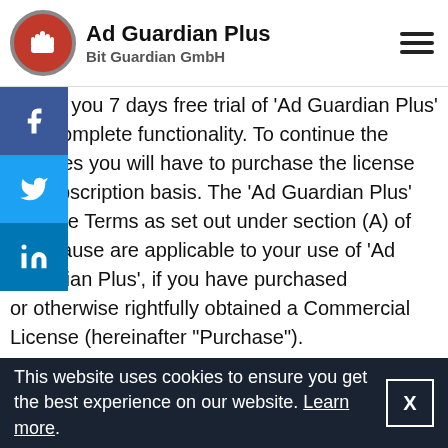[Figure (logo): Ad Guardian Plus app logo — red circle with white hand icon, bold app name and company name Bit Guardian GmbH, hamburger menu icon on right]
grants you 7 days free trial of 'Ad Guardian Plus' with complete functionality. To continue the services you will have to purchase the license on subscription basis. The 'Ad Guardian Plus' License Terms as set out under section (A) of this clause are applicable to your use of 'Ad Guardian Plus', if you have purchased or otherwise rightfully obtained a Commercial License (hereinafter "Purchase").
e Product, including, without limitation, its object code and source code, whether or not provided to you, is strictly confidential to Bit Guardian GmbH. Bit Guardian GmbH (or its licensors) owns exclusively
This website uses cookies to ensure you get the best experience on our website. Learn more.
rights in and to the Product, except to the extent of